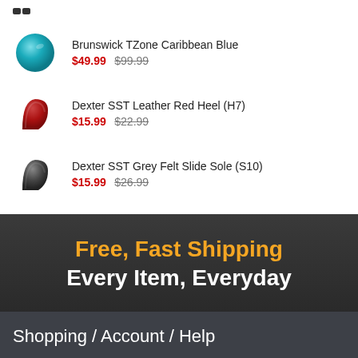Brunswick TZone Caribbean Blue $49.99 $99.99
Dexter SST Leather Red Heel (H7) $15.99 $22.99
Dexter SST Grey Felt Slide Sole (S10) $15.99 $26.99
Free, Fast Shipping Every Item, Everyday
Shopping / Account / Help
My Account / Orders
Shopping Help